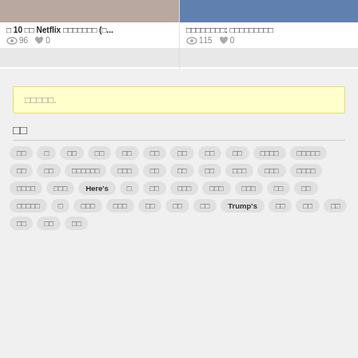[Figure (photo): Two article card thumbnails side by side - left card shows a person, right card shows a person in blue/purple tones]
□ 10 □□ Netflix □□□□□□□ (□...
□□□□□□□□: □□□□□□□□□
👁 96  ♥ 0
👁 115  ♥ 0
□□□□□.
□□
□□
□
□□
□□
□□
□□
□□
□□
□□
□□□□
□□□□□
□□
□□
□□□□□□
□□□
□□
□□
□□
□□□
□□□
□□□□
□□□□
□□□
Here's
□
□□
□□□
□□□
□□□
□□
□□
□□□□□
□
□□□
□□□
□□
□□
□□
Trump's
□□
□□
□□
□□
□□
□□